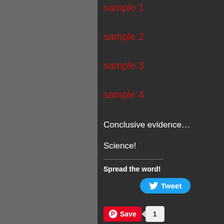sample 1
sample 2
sample 3
sample 4
Conclusive evidence…
Science!
Spread the word!
[Figure (other): Tweet button (Twitter/X share button, blue rounded)]
[Figure (other): Pinterest Save button with count badge showing 1]
comic
Discussion (31) ¬
Lazy Dalek
October 25, 2011 at 12:05 am |
But will they work on water? Or That is the true question here…
[Figure (illustration): Lazy Dalek avatar: cartoon Dalek holding a beer mug, brown/yellow colors, text INTOXICATE]